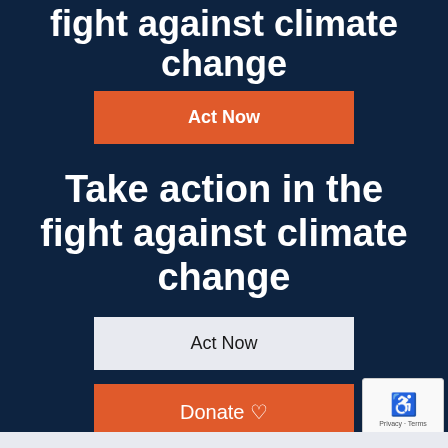fight against climate change
Act Now
Take action in the fight against climate change
Act Now
Donate ♡
[Figure (logo): reCAPTCHA widget with Privacy - Terms text]